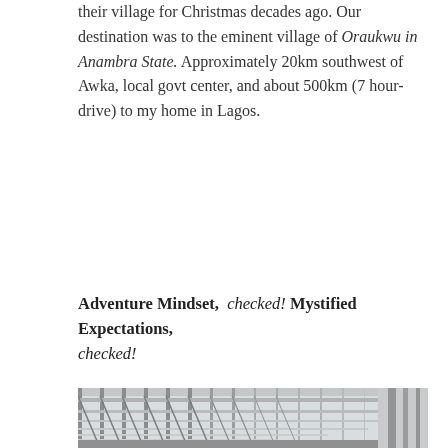their village for Christmas decades ago. Our destination was to the eminent village of Oraukwu in Anambra State. Approximately 20km southwest of Awka, local govt center, and about 500km (7 hour-drive) to my home in Lagos.
Adventure Mindset, checked! Mystified Expectations, checked!
[Figure (photo): Photograph of a large steel bridge structure viewed from the road surface, showing repeating metal truss frames and overhead beams extending into the distance. Industrial grey tones, taken on an overcast day.]